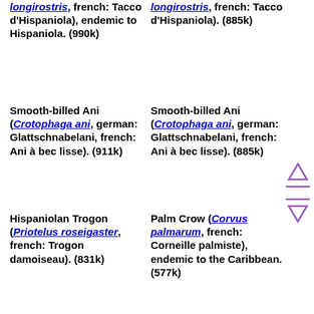longirostris, french: Tacco d'Hispaniola), endemic to Hispaniola. (990k)
longirostris, french: Tacco d'Hispaniola). (885k)
Smooth-billed Ani (Crotophaga ani, german: Glattschnabelani, french: Ani à bec lisse). (911k)
Smooth-billed Ani (Crotophaga ani, german: Glattschnabelani, french: Ani à bec lisse). (885k)
Hispaniolan Trogon (Priotelus roseigaster, french: Trogon damoiseau). (831k)
Palm Crow (Corvus palmarum, french: Corneille palmiste), endemic to the Caribbean. (577k)